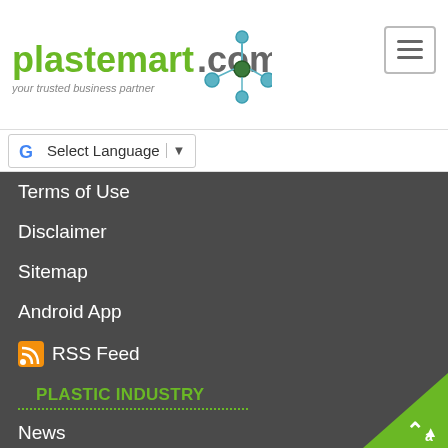[Figure (logo): Plastemart.com logo with green text and network/molecule graphic, tagline: your trusted business partner]
Select Language
Terms of Use
Disclaimer
Sitemap
Android App
RSS Feed
PLASTIC INDUSTRY
News
Newsletter
Articles
Exhibitions
Manufacturers Plastic Industry